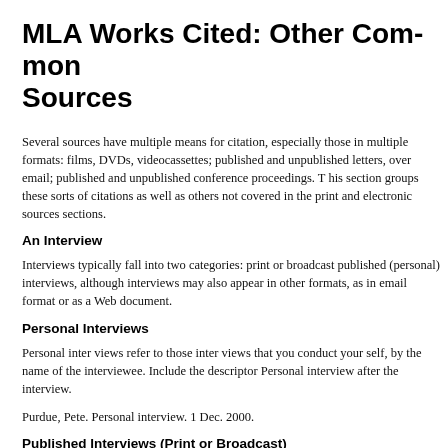MLA Works Cited: Other Common Sources
Several sources have multiple means for citation, especially those in multiple formats: films, DVDs, videocassettes; published and unpublished letters, over email; published and unpublished conference proceedings. This section groups these sorts of citations as well as others not covered in the print and electronic sources sections.
An Interview
Interviews typically fall into two categories: print or broadcast published (personal) interviews, although interviews may also appear in other formats, as in email format or as a Web document.
Personal Interviews
Personal interviews refer to those interviews that you conduct yourself, listed by the name of the interviewee. Include the descriptor Personal interview after the interview.
Purdue, Pete. Personal interview. 1 Dec. 2000.
Published Interviews (Print or Broadcast)
List the interview by the name of the interviewee. If the name of t